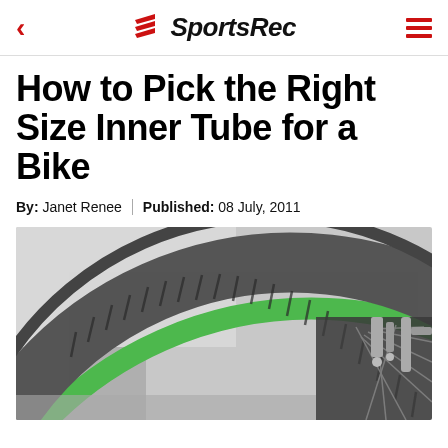SportsRec
How to Pick the Right Size Inner Tube for a Bike
By: Janet Renee | Published: 08 July, 2011
[Figure (photo): Close-up photograph of a bicycle tire with green rim and dark grey tread, showing spokes and brake mechanism in background]